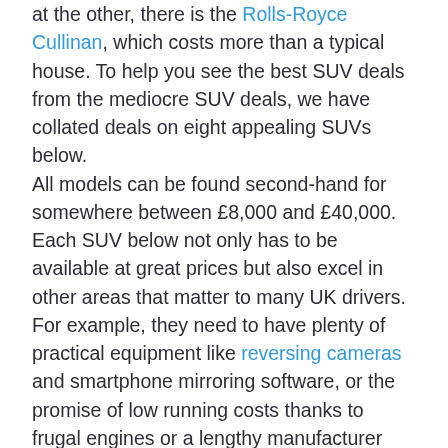at the other, there is the Rolls-Royce Cullinan, which costs more than a typical house. To help you see the best SUV deals from the mediocre SUV deals, we have collated deals on eight appealing SUVs below.
All models can be found second-hand for somewhere between £8,000 and £40,000. Each SUV below not only has to be available at great prices but also excel in other areas that matter to many UK drivers. For example, they need to have plenty of practical equipment like reversing cameras and smartphone mirroring software, or the promise of low running costs thanks to frugal engines or a lengthy manufacturer warranty and a great reputation for reliability. Read on for our favourite top-value SUVs.
[Figure (other): Blue button labeled 'How BuyaCar works' with a darker blue left border accent]